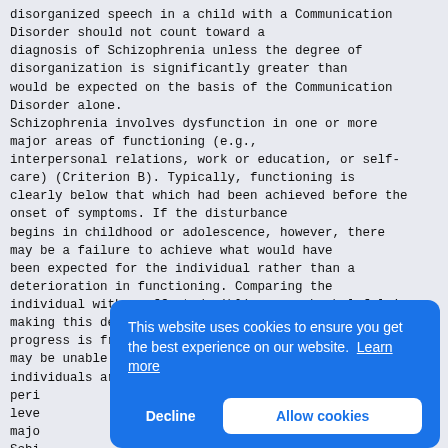disorganized speech in a child with a Communication Disorder should not count toward a diagnosis of Schizophrenia unless the degree of disorganization is significantly greater than would be expected on the basis of the Communication Disorder alone. Schizophrenia involves dysfunction in one or more major areas of functioning (e.g., interpersonal relations, work or education, or self-care) (Criterion B). Typically, functioning is clearly below that which had been achieved before the onset of symptoms. If the disturbance begins in childhood or adolescence, however, there may be a failure to achieve what would have been expected for the individual rather than a deterioration in functioning. Comparing the individual with unaffected siblings may be helpful in making this determination. Educational progress is frequently disrupted, and the individual may be unable to finish school. Many individuals are unable to hold a job for sustained peri[...] leve[...] majo[...] Schi[...] limi[...] pers[...] of t[...] dire[...] a wo[...] circ[...] kill her; this alone is not sufficient evidence for this criterion unless there is a more pervasive
[Figure (screenshot): Cookie consent overlay banner with blue background. Text reads: 'This website uses cookies to ensure you get the best experience on our website. Learn more' with 'Decline' and 'Allow cookies' buttons.]